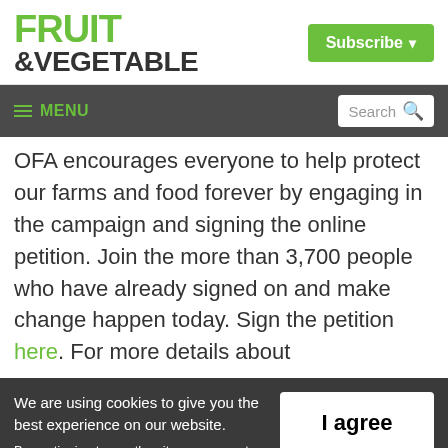FRUIT &VEGETABLE
Subscribe
≡ MENU   Search
OFA encourages everyone to help protect our farms and food forever by engaging in the campaign and signing the online petition. Join the more than 3,700 people who have already signed on and make change happen today. Sign the petition here. For more details about
We are using cookies to give you the best experience on our website.
By continuing to use the site, you agree to the use of cookies. To find out more, read our privacy policy.
I agree